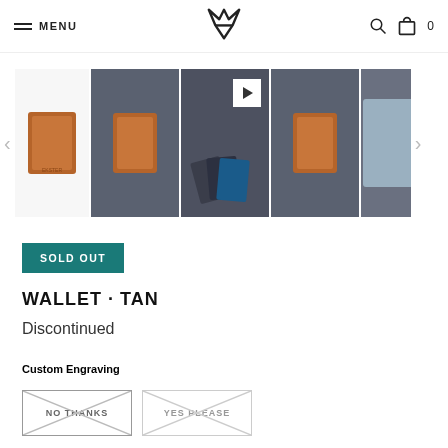MENU [logo] 🔍 🛍 0
[Figure (photo): Product image carousel showing a tan leather wallet in 5 thumbnail views including a video thumbnail, with left and right navigation arrows]
SOLD OUT
WALLET · TAN
Discontinued
Custom Engraving
NO THANKS   YES PLEASE